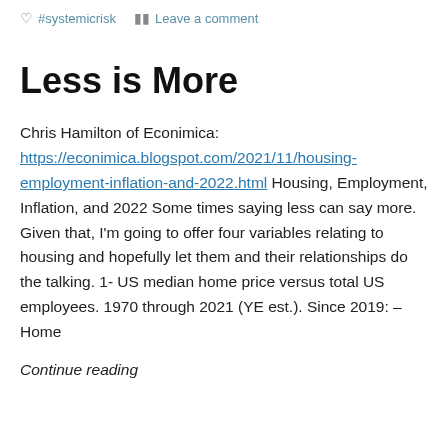#systemicrisk   Leave a comment
Less is More
Chris Hamilton of Econimica: https://econimica.blogspot.com/2021/11/housing-employment-inflation-and-2022.html Housing, Employment, Inflation, and 2022 Some times saying less can say more. Given that, I'm going to offer four variables relating to housing and hopefully let them and their relationships do the talking. 1- US median home price versus total US employees. 1970 through 2021 (YE est.). Since 2019: –Home
Continue reading